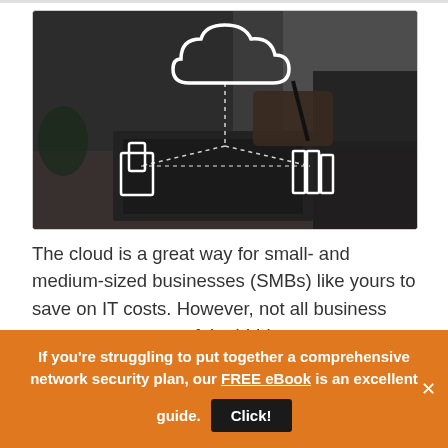[Figure (photo): A dark office scene showing a person's hand holding a stylus near a laptop. Overlaid white wireframe icons show a cloud connected to device icons (tablet/phone on left, book/panel on right) with dotted connecting lines, suggesting cloud computing connectivity.]
The cloud is a great way for small- and medium-sized businesses (SMBs) like yours to save on IT costs. However, not all business owners are aware of the hidden costs associated with using cloud technologies. In this blog post, we will discuss five cost-saving tips that will help you leverage cloud services without
If you're struggling to put together a comprehensive network security plan, our FREE eBook is an excellent guide. Click!